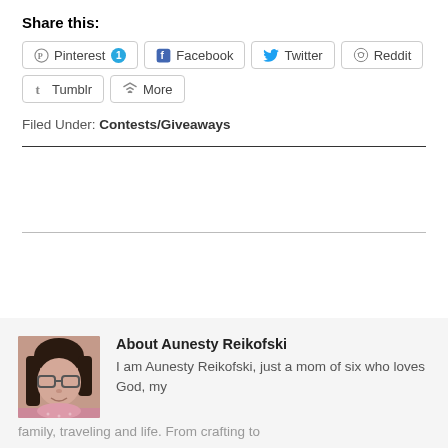Share this:
Pinterest 1 | Facebook | Twitter | Reddit | Tumblr | More
Filed Under: Contests/Giveaways
[Figure (photo): Author photo of Aunesty Reikofski, a woman with glasses and dark hair]
About Aunesty Reikofski
I am Aunesty Reikofski, just a mom of six who loves God, my family, traveling and life. From crafting to...